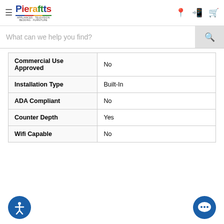Pierafts - Appliances · Television · Bedding · Furniture
| Property | Value |
| --- | --- |
| Commercial Use Approved | No |
| Installation Type | Built-In |
| ADA Compliant | No |
| Counter Depth | Yes |
| Wifi Capable | No |